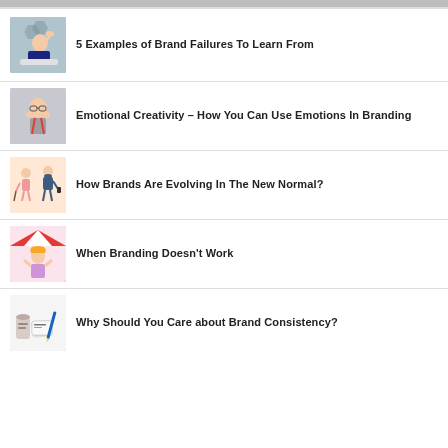[Figure (photo): Partial image at top of page, cropped]
5 Examples of Brand Failures To Learn From
Emotional Creativity – How You Can Use Emotions In Branding
How Brands Are Evolving In The New Normal?
When Branding Doesn't Work
Why Should You Care about Brand Consistency?